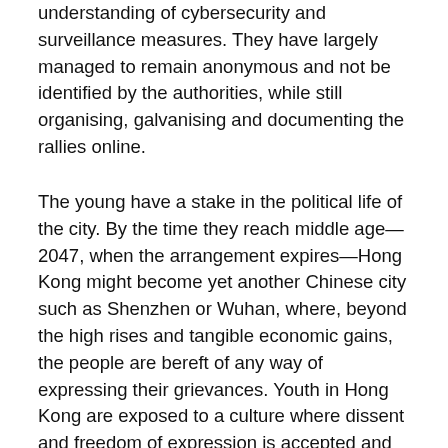understanding of cybersecurity and surveillance measures. They have largely managed to remain anonymous and not be identified by the authorities, while still organising, galvanising and documenting the rallies online.
The young have a stake in the political life of the city. By the time they reach middle age—2047, when the arrangement expires—Hong Kong might become yet another Chinese city such as Shenzhen or Wuhan, where, beyond the high rises and tangible economic gains, the people are bereft of any way of expressing their grievances. Youth in Hong Kong are exposed to a culture where dissent and freedom of expression is accepted and tolerated. The city is known for its world-renowned educational institutions, such as Hong Kong University, Hong Kong University of Science and Technology, the